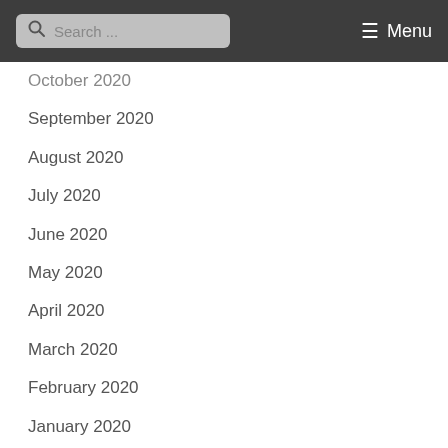Search ... Menu
October 2020
September 2020
August 2020
July 2020
June 2020
May 2020
April 2020
March 2020
February 2020
January 2020
December 2019
November 2019
October 2019
September 2019
July 2019
June 2019
May 2019